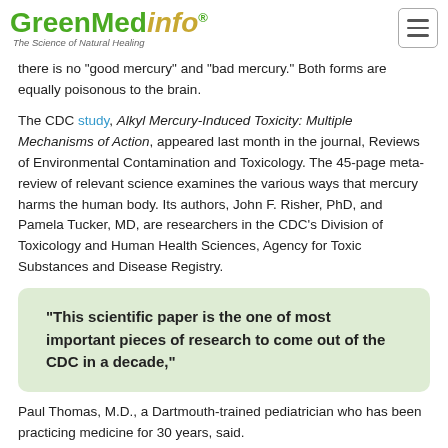GreenMedInfo® — The Science of Natural Healing
there is no "good mercury" and "bad mercury." Both forms are equally poisonous to the brain.
The CDC study, Alkyl Mercury-Induced Toxicity: Multiple Mechanisms of Action, appeared last month in the journal, Reviews of Environmental Contamination and Toxicology. The 45-page meta-review of relevant science examines the various ways that mercury harms the human body. Its authors, John F. Risher, PhD, and Pamela Tucker, MD, are researchers in the CDC's Division of Toxicology and Human Health Sciences, Agency for Toxic Substances and Disease Registry.
"This scientific paper is the one of most important pieces of research to come out of the CDC in a decade,"
Paul Thomas, M.D., a Dartmouth-trained pediatrician who has been practicing medicine for 30 years, said.